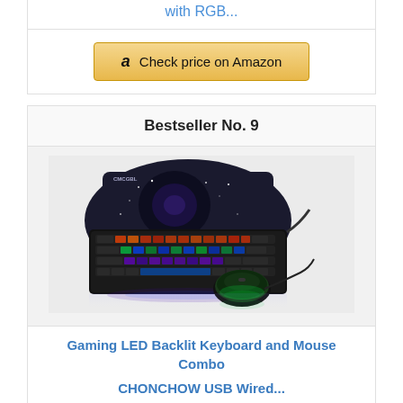with RGB...
Check price on Amazon
Bestseller No. 9
[Figure (photo): Gaming LED backlit keyboard with RGB lighting and green backlit mouse on a galaxy-themed mouse pad]
Gaming LED Backlit Keyboard and Mouse Combo CHONCHOW USB Wired...